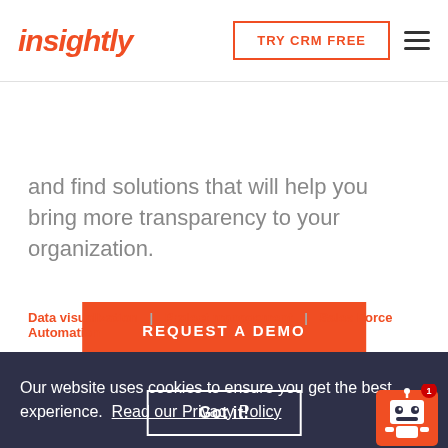insightly | TRY CRM FREE
and find solutions that will help you bring more transparency to your organization.
REQUEST A DEMO
Data visualization | Project management | Sales Force Automation
Our website uses cookies to ensure you get the best experience. Read our Privacy Policy
Got it!